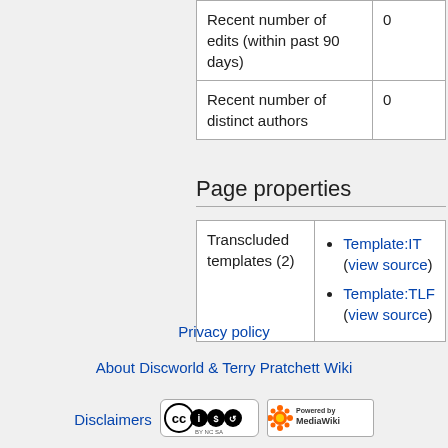| Recent number of edits (within past 90 days) | 0 |
| Recent number of distinct authors | 0 |
Page properties
| Transcluded templates (2) | Template:IT (view source)
Template:TLF (view source) |
Privacy policy
About Discworld & Terry Pratchett Wiki
Disclaimers
[Figure (logo): Creative Commons BY-NC-SA license badge]
[Figure (logo): Powered by MediaWiki badge]